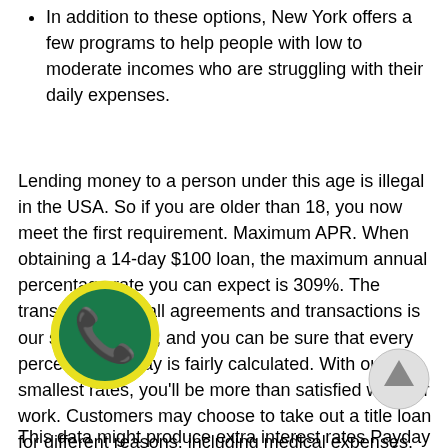In addition to these options, New York offers a few programs to help people with low to moderate incomes who are struggling with their daily expenses.
Lending money to a person under this age is illegal in the USA. So if you are older than 18, you now meet the first requirement. Maximum APR. When obtaining a 14-day $100 loan, the maximum annual percentage rate you can expect is 309%. The transparency of all agreements and transactions is our strongest suit, and you can be sure that every percent you repay is fairly calculated. With our smallest rates, you'll be more than satisfied with our work. Customers may choose to take out a title loan for different reasons, including medical expenses, home improvements, business expenses, educational costs. If you push back the due date of your loan, your interest will pile on, and you may have to pay more in the long-term perspective. COMPACOM.COM can get some compensation for featured placement of certain sponsored products and services, or your clicking on links posted on this website, it doesn't impact the way the companies are evaluated.
This data might produce extra interest rates Payday loans